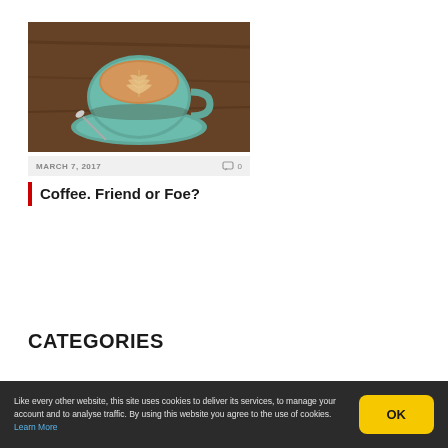[Figure (photo): A latte art coffee in a teal/green cup and saucer on a wooden surface]
MARCH 7, 2017   0
Coffee. Friend or Foe?
CATEGORIES
Like every other website, this site uses cookies to deliver its services, to manage your account and to analyse traffic. By using this website you agree to the use of cookies. Learn More